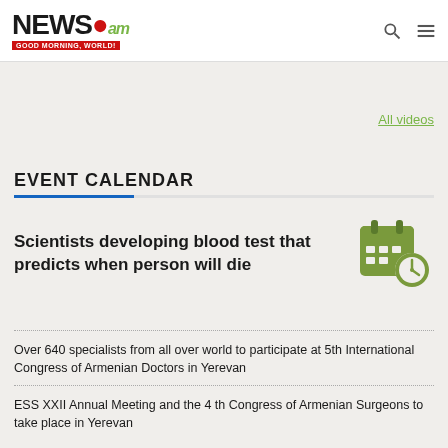NEWS.am — GOOD MORNING, WORLD!
All videos
EVENT CALENDAR
Scientists developing blood test that predicts when person will die
[Figure (illustration): Calendar icon with clock overlay in olive green]
Over 640 specialists from all over world to participate at 5th International Congress of Armenian Doctors in Yerevan
ESS XXII Annual Meeting and the 4 th Congress of Armenian Surgeons to take place in Yerevan